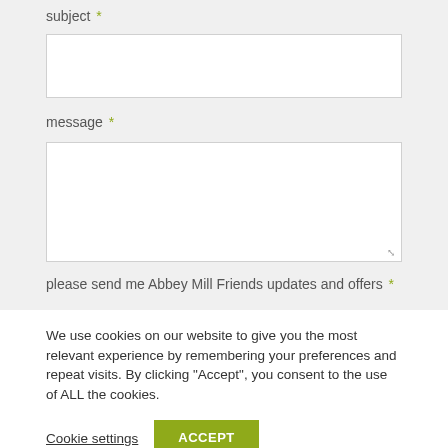subject *
message *
please send me Abbey Mill Friends updates and offers *
We use cookies on our website to give you the most relevant experience by remembering your preferences and repeat visits. By clicking "Accept", you consent to the use of ALL the cookies.
Cookie settings
ACCEPT